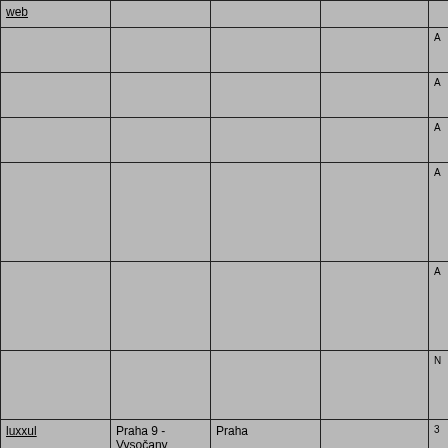| web |  |  |  |  |
| --- | --- | --- | --- | --- |
|  |  |  |  | A |
|  |  |  |  | A |
|  |  |  |  | A |
|  |  |  |  | A |
|  |  |  |  | A |
|  |  |  |  | N |
| luxxul | Praha 9 - Vysočany | Praha |  | 3 |
| martas | Kostelec nad Orlici | Rychnov nad Kněžnou | hry | A |
| Lanex
www.ilnx.cz | Kladno | Goldshire | Programování v ASM | A |
| Angelou | Ostrava | Poruba | Hry, dema | A |
| sexybourak | Praha | Praha |  | A |
| Linus | Kosice | Slovensko | PowerPC :)))) |  |